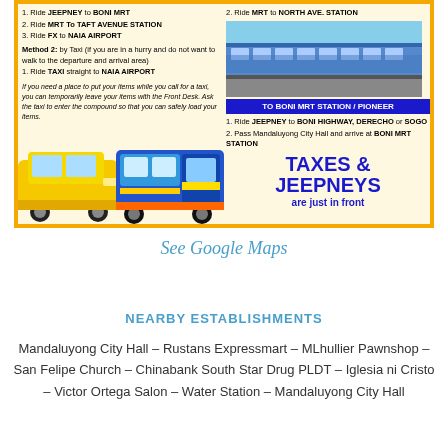[Figure (infographic): Transportation guide infographic with orange border. Left column lists methods to reach NAIA Airport (Jeepney to Boni MRT, MRT to Taft Avenue, FX to NAIA; or Taxi). Right column shows MRT photo, directions to Boni MRT Station/Pioneer, and 'TAXES & JEEPNEYS are just in front' text. Bottom-left shows taxi and jeepney photos.]
See Google Maps
NEARBY ESTABLISHMENTS
Mandaluyong City Hall – Rustans Expressmart – MLhullier Pawnshop – San Felipe Church – Chinabank South Star Drug PLDT – Iglesia ni Cristo – Victor Ortega Salon – Water Station – Mandaluyong City Hall